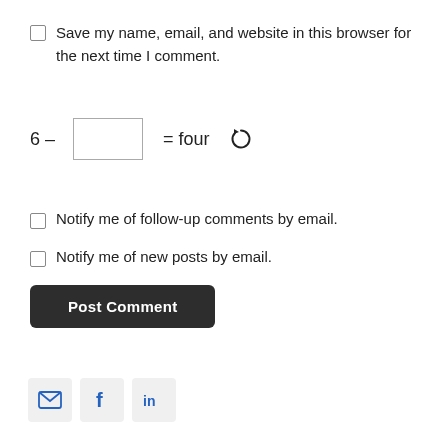Save my name, email, and website in this browser for the next time I comment.
Notify me of follow-up comments by email.
Notify me of new posts by email.
Post Comment
[Figure (infographic): Social sharing icons: email, Facebook, LinkedIn]